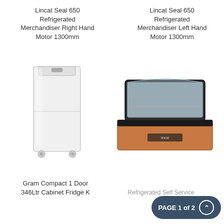Lincat Seal 650 Refrigerated Merchandiser Right Hand Motor 1300mm
Lincat Seal 650 Refrigerated Merchandiser Left Hand Motor 1300mm
[Figure (photo): White upright single-door refrigerator cabinet on wheels]
[Figure (photo): Refrigerated display case with curved glass top, sitting on a wooden counter unit]
Gram Compact 1 Door 346Ltr Cabinet Fridge K
Refrigerated Self Service
PAGE 1 of 2